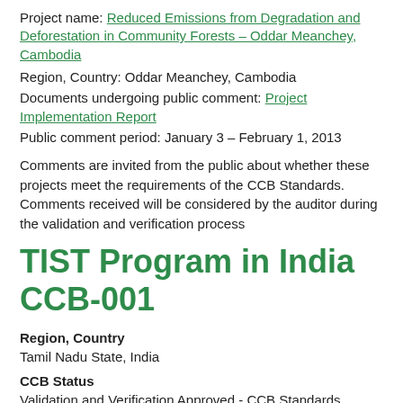Project name: Reduced Emissions from Degradation and Deforestation in Community Forests – Oddar Meanchey, Cambodia
Region, Country: Oddar Meanchey, Cambodia
Documents undergoing public comment: Project Implementation Report
Public comment period: January 3 – February 1, 2013
Comments are invited from the public about whether these projects meet the requirements of the CCB Standards. Comments received will be considered by the auditor during the validation and verification process
TIST Program in India CCB-001
Region, Country
Tamil Nadu State, India
CCB Status
Validation and Verification Approved - CCB Standards Second Edition (Mar 11, 2013)